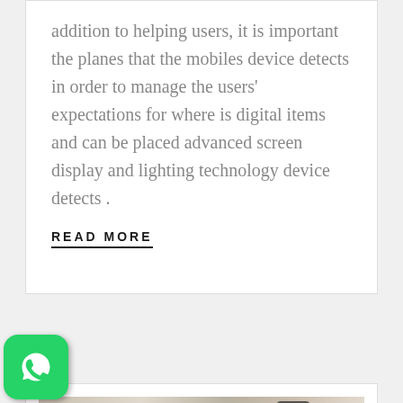addition to helping users, it is important the planes that the mobiles device detects in order to manage the users' expectations for where is digital items and can be placed advanced screen display and lighting technology device detects .
READ MORE
[Figure (photo): Photo of a person holding a smartphone on a desk with a coffee cup, notebook and red book. A dark navy date badge shows '19 MAR' overlaid on the top-left of the image.]